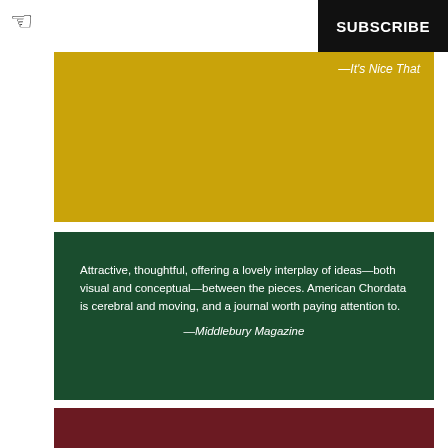SUBSCRIBE
[Figure (other): Gold/yellow colored block with italic text attribution —It's Nice That]
Attractive, thoughtful, offering a lovely interplay of ideas—both visual and conceptual—between the pieces. American Chordata is cerebral and moving, and a journal worth paying attention to. —Middlebury Magazine
[Figure (other): Dark red/maroon colored block at bottom]